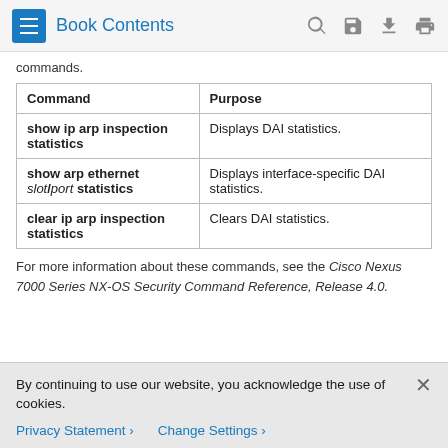Book Contents
commands.
| Command | Purpose |
| --- | --- |
| show ip arp inspection statistics | Displays DAI statistics. |
| show arp ethernet slot/port statistics | Displays interface-specific DAI statistics. |
| clear ip arp inspection statistics | Clears DAI statistics. |
For more information about these commands, see the Cisco Nexus 7000 Series NX-OS Security Command Reference, Release 4.0.
By continuing to use our website, you acknowledge the use of cookies.
Privacy Statement > Change Settings >